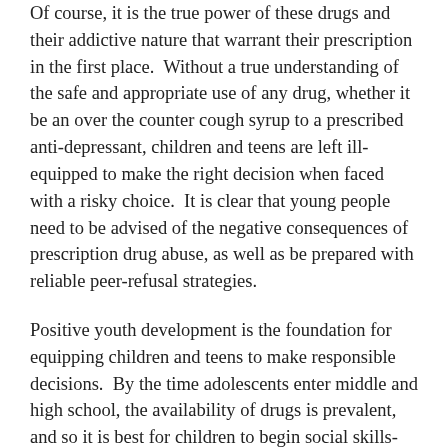Of course, it is the true power of these drugs and their addictive nature that warrant their prescription in the first place.  Without a true understanding of the safe and appropriate use of any drug, whether it be an over the counter cough syrup to a prescribed anti-depressant, children and teens are left ill-equipped to make the right decision when faced with a risky choice.  It is clear that young people need to be advised of the negative consequences of prescription drug abuse, as well as be prepared with reliable peer-refusal strategies.
Positive youth development is the foundation for equipping children and teens to make responsible decisions.  By the time adolescents enter middle and high school, the availability of drugs is prevalent, and so it is best for children to begin social skills-based prevention education from a young age.
The development of social and emotional skills should